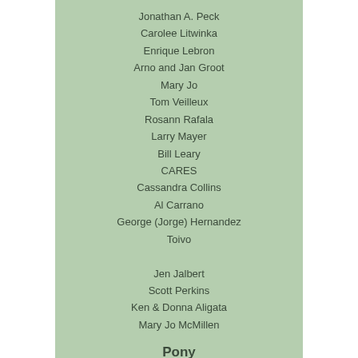Jonathan A. Peck
Carolee Litwinka
Enrique Lebron
Arno and Jan Groot
Mary Jo
Tom Veilleux
Rosann Rafala
Larry Mayer
Bill Leary
CARES
Cassandra Collins
Al Carrano
George (Jorge) Hernandez
Toivo
Jen Jalbert
Scott Perkins
Ken & Donna Aligata
Mary Jo McMillen
Pony
Carol and Jerry Kardas